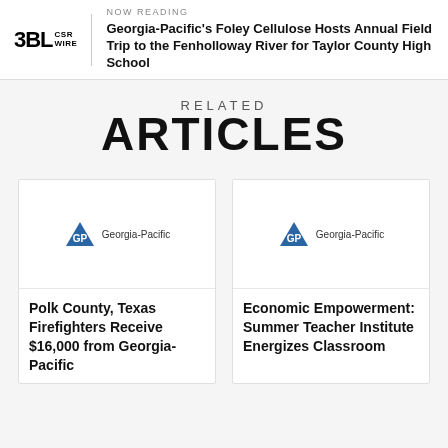NOW READING
Georgia-Pacific's Foley Cellulose Hosts Annual Field Trip to the Fenholloway River for Taylor County High School
RELATED
ARTICLES
[Figure (logo): Georgia-Pacific logo with blue triangle GP mark and 'Georgia-Pacific' text]
Polk County, Texas Firefighters Receive $16,000 from Georgia-Pacific
[Figure (logo): Georgia-Pacific logo with blue triangle GP mark and 'Georgia-Pacific' text]
Economic Empowerment: Summer Teacher Institute Energizes Classroom